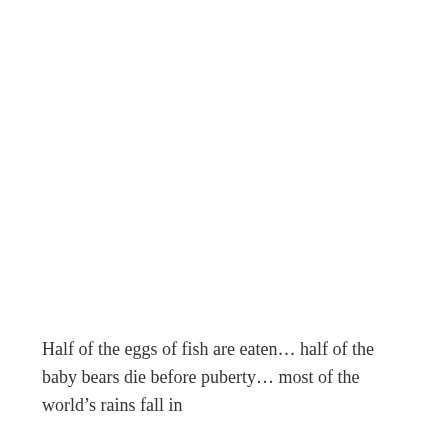Half of the eggs of fish are eaten... half of the baby bears die before puberty... most of the world's rains fall in